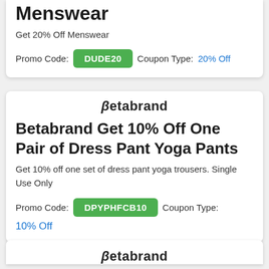Menswear
Get 20% Off Menswear
Promo Code: DUDE20   Coupon Type: 20% Off
βetabrand
Betabrand Get 10% Off One Pair of Dress Pant Yoga Pants
Get 10% off one set of dress pant yoga trousers. Single Use Only
Promo Code: DPYPHFCB10   Coupon Type: 10% Off
βetabrand